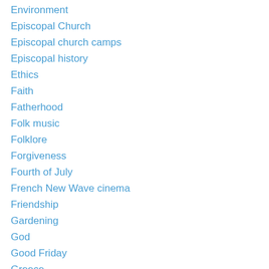Environment
Episcopal Church
Episcopal church camps
Episcopal history
Ethics
Faith
Fatherhood
Folk music
Folklore
Forgiveness
Fourth of July
French New Wave cinema
Friendship
Gardening
God
Good Friday
Greece
Gun violence
Halloween
Hiking